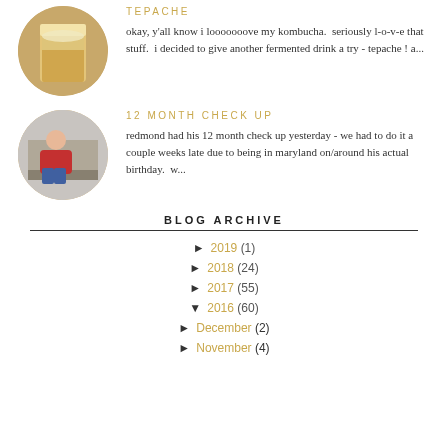TEPACHE
[Figure (photo): Circular thumbnail photo of a glass of tepache, a fermented drink, golden/amber colored liquid]
okay, y'all know i looooooove my kombucha.  seriously l-o-v-e that stuff.  i decided to give another fermented drink a try - tepache ! a...
12 MONTH CHECK UP
[Figure (photo): Circular thumbnail photo of a toddler in a red sweater]
redmond had his 12 month check up yesterday - we had to do it a couple weeks late due to being in maryland on/around his actual birthday.  w...
BLOG ARCHIVE
► 2019 (1)
► 2018 (24)
► 2017 (55)
▼ 2016 (60)
► December (2)
► November (4)